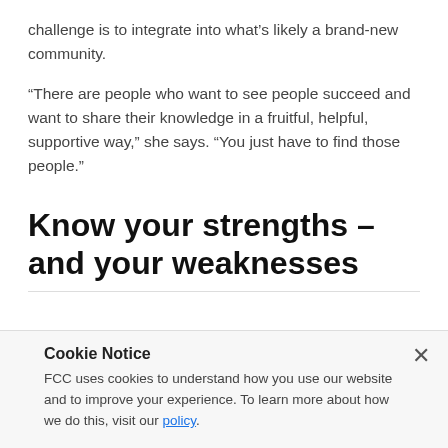challenge is to integrate into what's likely a brand-new community.
“There are people who want to see people succeed and want to share their knowledge in a fruitful, helpful, supportive way,” she says. “You just have to find those people.”
Know your strengths – and your weaknesses
Cookie Notice
FCC uses cookies to understand how you use our website and to improve your experience. To learn more about how we do this, visit our policy.